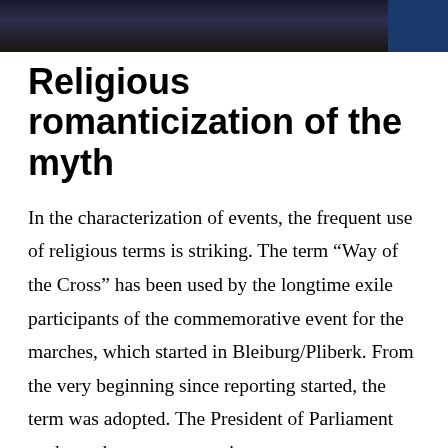[Figure (photo): Partial photo strip at top of page showing dark background with what appears to be a person, dark tones with blue accent on the right side]
Religious romanticization of the myth
In the characterization of events, the frequent use of religious terms is striking. The term “Way of the Cross” has been used by the longtime exile participants of the commemorative event for the marches, which started in Bleiburg/Pliberk. From the very beginning since reporting started, the term was adopted. The President of Parliament spoke at the commemoration